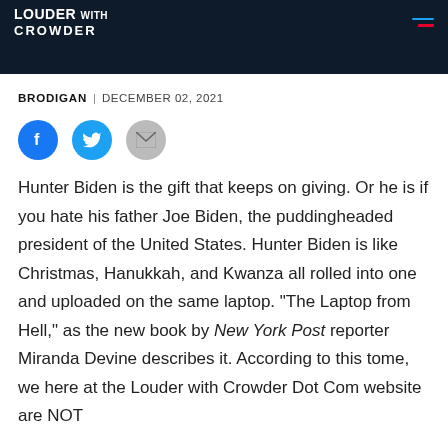LOUDER WITH CROWDER
BRODIGAN | DECEMBER 02, 2021
[Figure (other): Social share icons: Facebook, Twitter, and Email]
Hunter Biden is the gift that keeps on giving. Or he is if you hate his father Joe Biden, the puddingheaded president of the United States. Hunter Biden is like Christmas, Hanukkah, and Kwanza all rolled into one and uploaded on the same laptop. "The Laptop from Hell," as the new book by New York Post reporter Miranda Devine describes it. According to this tome, we here at the Louder with Crowder Dot Com website are NOT